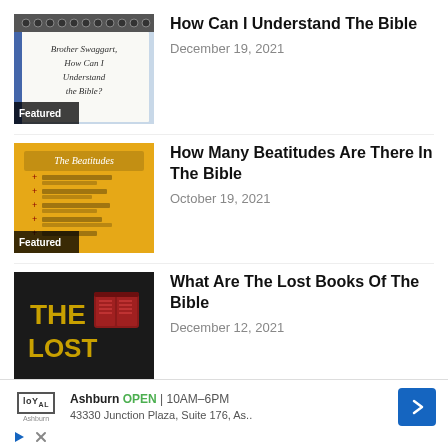[Figure (photo): Notebook with handwritten text 'Brother Swaggart, How Can I Understand the Bible?' with a Featured badge overlay]
How Can I Understand The Bible
December 19, 2021
[Figure (photo): Yellow book cover titled 'The Beatitudes' with a list of beatitudes and cross symbols, with a Featured badge overlay]
How Many Beatitudes Are There In The Bible
October 19, 2021
[Figure (photo): Black book cover with gold text reading 'THE LOST' and a red book icon]
What Are The Lost Books Of The Bible
December 12, 2021
[Figure (screenshot): Advertisement banner: Loyal logo, Ashburn OPEN 10AM-6PM, 43330 Junction Plaza, Suite 176, As.. with blue navigation arrow icon]